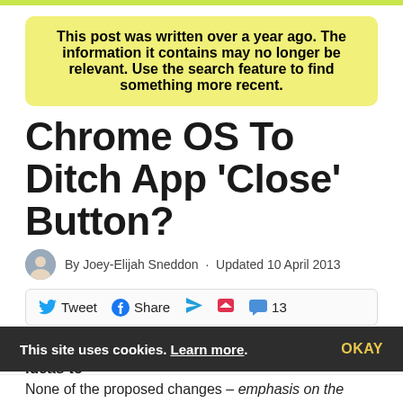This post was written over a year ago. The information it contains may no longer be relevant. Use the search feature to find something more recent.
Chrome OS To Ditch App 'Close' Button?
By Joey-Elijah Sneddon · Updated 10 April 2013
Tweet Share [Telegram] [Pocket] [Comment] 13
The Chrome team are once again toying with ideas to
This site uses cookies. Learn more. OKAY
None of the proposed changes – emphasis on the